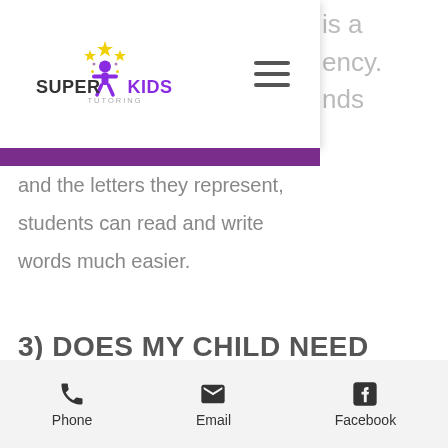[Figure (logo): Super Kids Tutoring logo with star and figure, purple and black text]
and the letters they represent, students can read and write words much easier.
3) DOES MY CHILD NEED TO ATTEND A SCHOOL READINESS PROGRAM IF THEY ARE ALREADY ATTENDING A LONG DAY CARE CENTER?
Phone | Email | Facebook